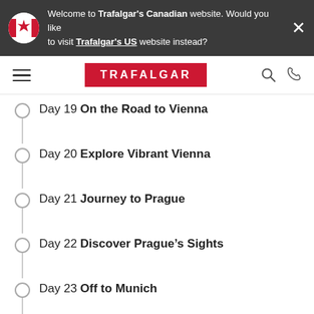Welcome to Trafalgar's Canadian website. Would you like to visit Trafalgar's US website instead?
[Figure (logo): Trafalgar red logo on navigation bar]
Day 19 On the Road to Vienna
Day 20 Explore Vibrant Vienna
Day 21 Journey to Prague
Day 22 Discover Prague's Sights
Day 23 Off to Munich
Day 24 Uncover Liechtenstein and Lucerne